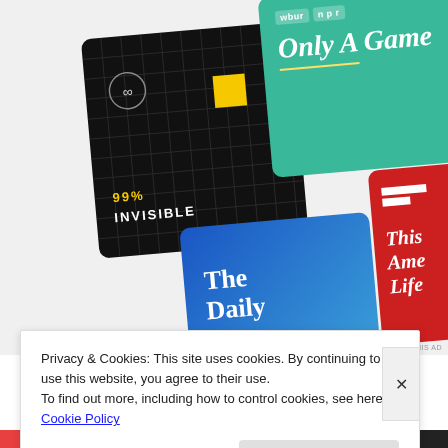[Figure (illustration): Advertisement collage showing podcast cover art tiles: 99% Invisible (black with grid and yellow square), Only A Game (teal with wbur/npr badges), The Daily (blue gradient), and This American Life (red). Partially cropped. 'REPORT THIS AD' text in lower right.]
Privacy & Cookies: This site uses cookies. By continuing to use this website, you agree to their use.
To find out more, including how to control cookies, see here: Cookie Policy
Close and accept